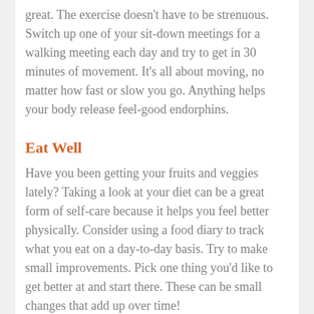great. The exercise doesn't have to be strenuous. Switch up one of your sit-down meetings for a walking meeting each day and try to get in 30 minutes of movement. It's all about moving, no matter how fast or slow you go. Anything helps your body release feel-good endorphins.
Eat Well
Have you been getting your fruits and veggies lately? Taking a look at your diet can be a great form of self-care because it helps you feel better physically. Consider using a food diary to track what you eat on a day-to-day basis. Try to make small improvements. Pick one thing you'd like to get better at and start there. These can be small changes that add up over time!